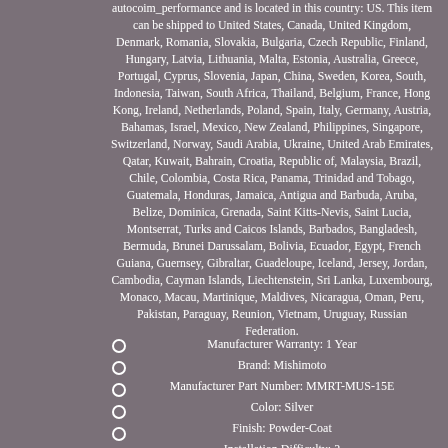autocoim_performance and is located in this country: US. This item can be shipped to United States, Canada, United Kingdom, Denmark, Romania, Slovakia, Bulgaria, Czech Republic, Finland, Hungary, Latvia, Lithuania, Malta, Estonia, Australia, Greece, Portugal, Cyprus, Slovenia, Japan, China, Sweden, Korea, South, Indonesia, Taiwan, South Africa, Thailand, Belgium, France, Hong Kong, Ireland, Netherlands, Poland, Spain, Italy, Germany, Austria, Bahamas, Israel, Mexico, New Zealand, Philippines, Singapore, Switzerland, Norway, Saudi Arabia, Ukraine, United Arab Emirates, Qatar, Kuwait, Bahrain, Croatia, Republic of, Malaysia, Brazil, Chile, Colombia, Costa Rica, Panama, Trinidad and Tobago, Guatemala, Honduras, Jamaica, Antigua and Barbuda, Aruba, Belize, Dominica, Grenada, Saint Kitts-Nevis, Saint Lucia, Montserrat, Turks and Caicos Islands, Barbados, Bangladesh, Bermuda, Brunei Darussalam, Bolivia, Ecuador, Egypt, French Guiana, Guernsey, Gibraltar, Guadeloupe, Iceland, Jersey, Jordan, Cambodia, Cayman Islands, Liechtenstein, Sri Lanka, Luxembourg, Monaco, Macau, Martinique, Maldives, Nicaragua, Oman, Peru, Pakistan, Paraguay, Reunion, Vietnam, Uruguay, Russian Federation.
Manufacturer Warranty: 1 Year
Brand: Mishimoto
Manufacturer Part Number: MMRT-MUS-15E
Color: Silver
Finish: Powder-Coat
Installation Difficulty: 2
Material: ALUMINUM
Prop 65 - Short Label: prop65_warning.jpg
Prop 65 (C, R or CR): CR